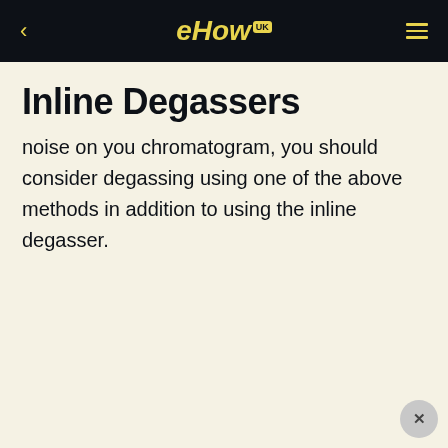eHow UK
Inline Degassers
noise on you chromatogram, you should consider degassing using one of the above methods in addition to using the inline degasser.